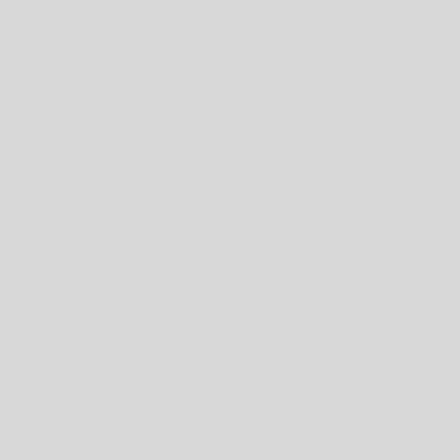using ambient light. you can see the results you'll get through
In some ways reflections could be thought of as the opposite of shadows – shadows are the absence of light. If shadows are good at showing us th… rearrange our subject in interesting and unexpected ways. We… Olympus User.
[Figure (photo): Aerial or top-down view of colorful red and yellow roses floating in a dark blue swimming pool, with tiled pool edge visible at the top.]